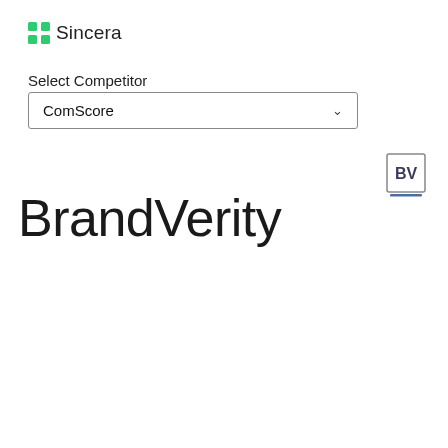Sincera
Select Competitor
ComScore
[Figure (logo): BV logo — square with bold letters BV inside a gray border box with blue underline]
BrandVerity